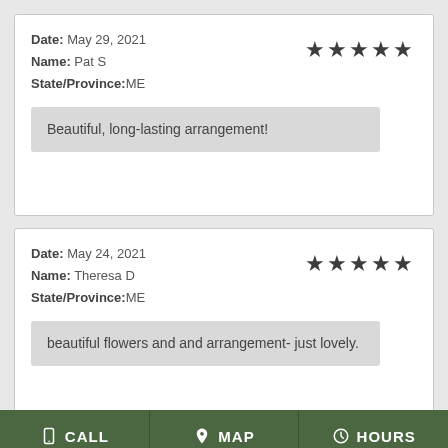Date: May 29, 2021
Name: Pat S
State/Province:ME
★★★★★
Beautiful, long-lasting arrangement!
Date: May 24, 2021
Name: Theresa D
State/Province:ME
★★★★★
beautiful flowers and and arrangement- just lovely.
CALL  MAP  HOURS